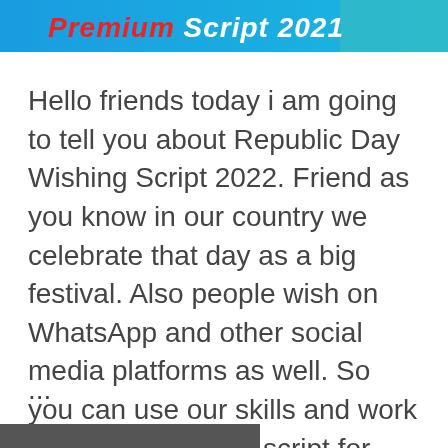[Figure (illustration): Banner image with text 'Premium Script 2021' in bold italic white/red letters on a blue gradient background, with a person visible on the right side]
Hello friends today i am going to tell you about Republic Day Wishing Script 2022. Friend as you know in our country we celebrate that day as a big festival. Also people wish on WhatsApp and other social media platforms as well. So you can use our skills and work on WhatsApp viral script for
...
[Figure (illustration): Partial dark grey banner at the bottom of the page]